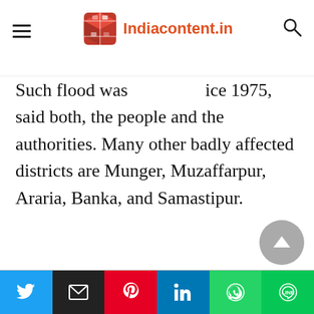Indiacontent.in
Such flood was [partially obscured] ice 1975, said both, the people and the authorities. Many other badly affected districts are Munger, Muzaffarpur, Araria, Banka, and Samastipur.